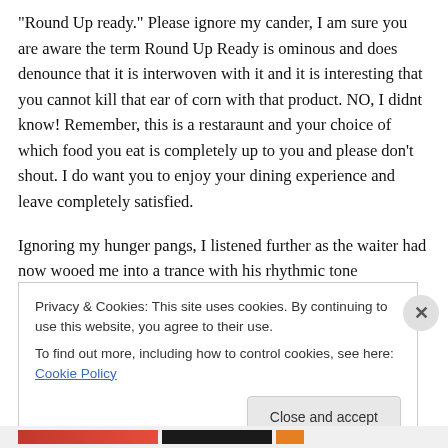“Round Up ready.” Please ignore my cander, I am sure you are aware the term Round Up Ready is ominous and does denounce that it is interwoven with it and it is interesting that you cannot kill that ear of corn with that product. NO, I didnt know! Remember, this is a restaraunt and your choice of which food you eat is completely up to you and please don’t shout. I do want you to enjoy your dining experience and leave completely satisfied.

Ignoring my hunger pangs, I listened further as the waiter had now wooed me into a trance with his rhythmic tone
Privacy & Cookies: This site uses cookies. By continuing to use this website, you agree to their use.
To find out more, including how to control cookies, see here: Cookie Policy

Close and accept